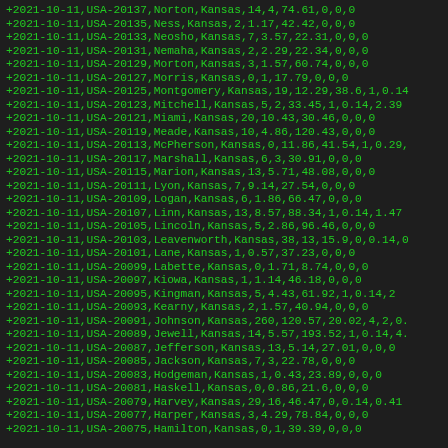+2021-10-11,USA-20137,Norton,Kansas,14,4,74.61,0,0,0
+2021-10-11,USA-20135,Ness,Kansas,2,1.17,42.42,0,0,0
+2021-10-11,USA-20133,Neosho,Kansas,7,3.57,22.31,0,0,0
+2021-10-11,USA-20131,Nemaha,Kansas,2,2.29,22.34,0,0,0
+2021-10-11,USA-20129,Morton,Kansas,3,1.57,60.74,0,0,0
+2021-10-11,USA-20127,Morris,Kansas,0,1,17.79,0,0,0
+2021-10-11,USA-20125,Montgomery,Kansas,19,12.29,38.6,1,0.14
+2021-10-11,USA-20123,Mitchell,Kansas,5,2,33.45,1,0.14,2.39
+2021-10-11,USA-20121,Miami,Kansas,20,10.43,30.46,0,0,0
+2021-10-11,USA-20119,Meade,Kansas,10,4.86,120.43,0,0,0
+2021-10-11,USA-20113,McPherson,Kansas,0,11.86,41.54,1,0.29,
+2021-10-11,USA-20117,Marshall,Kansas,6,3,30.91,0,0,0
+2021-10-11,USA-20115,Marion,Kansas,13,5.71,48.08,0,0,0
+2021-10-11,USA-20111,Lyon,Kansas,7,9.14,27.54,0,0,0
+2021-10-11,USA-20109,Logan,Kansas,6,1.86,66.47,0,0,0
+2021-10-11,USA-20107,Linn,Kansas,13,8.57,88.34,1,0.14,1.47
+2021-10-11,USA-20105,Lincoln,Kansas,5,2.86,96.46,0,0,0
+2021-10-11,USA-20103,Leavenworth,Kansas,38,13,15.9,0,0.14,0
+2021-10-11,USA-20101,Lane,Kansas,1,0.57,37.23,0,0,0
+2021-10-11,USA-20099,Labette,Kansas,0,1.71,8.74,0,0,0
+2021-10-11,USA-20097,Kiowa,Kansas,1,1.14,46.18,0,0,0
+2021-10-11,USA-20095,Kingman,Kansas,5,4.43,61.92,1,0.14,2
+2021-10-11,USA-20093,Kearny,Kansas,2,1.57,40.94,0,0,0
+2021-10-11,USA-20091,Johnson,Kansas,260,120.57,20.02,4,2,0.
+2021-10-11,USA-20089,Jewell,Kansas,14,5.57,193.52,1,0.14,4.
+2021-10-11,USA-20087,Jefferson,Kansas,13,5.14,27.01,0,0,0
+2021-10-11,USA-20085,Jackson,Kansas,7,3,22.78,0,0,0
+2021-10-11,USA-20083,Hodgeman,Kansas,1,0.43,23.89,0,0,0
+2021-10-11,USA-20081,Haskell,Kansas,0,0.86,21.6,0,0,0
+2021-10-11,USA-20079,Harvey,Kansas,29,16,46.47,0,0.14,0.41
+2021-10-11,USA-20077,Harper,Kansas,3,4.29,78.84,0,0,0
+2021-10-11,USA-20075,Hamilton,Kansas,0,1,39.39,0,0,0